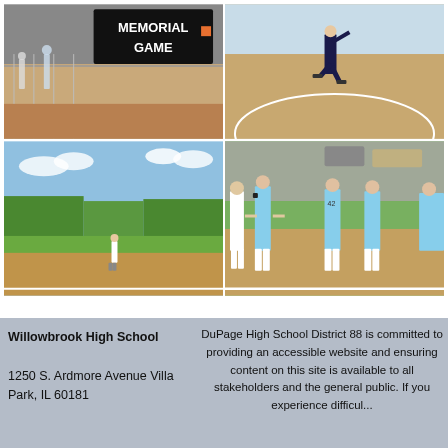[Figure (photo): Four softball/baseball photos arranged in a 2x2 grid. Top-left: Memorial Game banner with players near fence. Top-right: Player pitching on dirt field. Bottom-left: Player standing alone on softball field with trees in background. Bottom-right: Group of players in light blue uniforms shaking hands/greeting.]
Willowbrook High School

1250 S. Ardmore Avenue Villa Park, IL 60181
DuPage High School District 88 is committed to providing an accessible website and ensuring content on this site is available to all stakeholders and the general public. If you experience difficul...